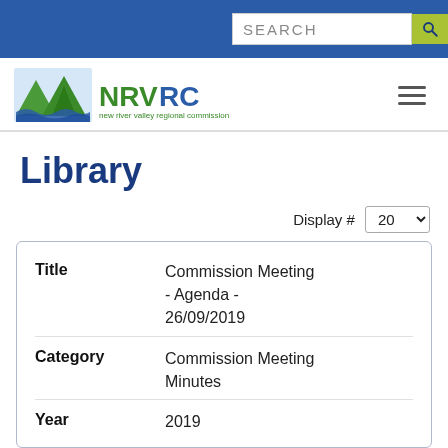SEARCH
[Figure (logo): NRVRC New River Valley Regional Commission logo with mountain and river graphic]
Library
Display # 20
| Field | Value |
| --- | --- |
| Title | Commission Meeting - Agenda - 26/09/2019 |
| Category | Commission Meeting Minutes |
| Year | 2019 |